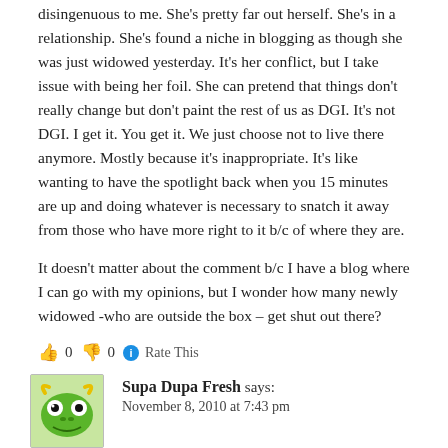disingenuous to me. She's pretty far out herself. She's in a relationship. She's found a niche in blogging as though she was just widowed yesterday. It's her conflict, but I take issue with being her foil. She can pretend that things don't really change but don't paint the rest of us as DGI. It's not DGI. I get it. You get it. We just choose not to live there anymore. Mostly because it's inappropriate. It's like wanting to have the spotlight back when you 15 minutes are up and doing whatever is necessary to snatch it away from those who have more right to it b/c of where they are.
It doesn't matter about the comment b/c I have a blog where I can go with my opinions, but I wonder how many newly widowed -who are outside the box – get shut out there?
👍 0 👎 0 ℹ Rate This
Reply →
Supa Dupa Fresh says: November 8, 2010 at 7:43 pm